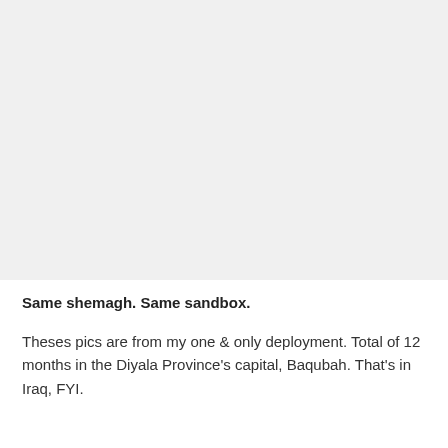[Figure (photo): A large light gray rectangular placeholder image area occupying the top portion of the page.]
Same shemagh. Same sandbox.
Theses pics are from my one & only deployment. Total of 12 months in the Diyala Province's capital, Baqubah. That's in Iraq, FYI.